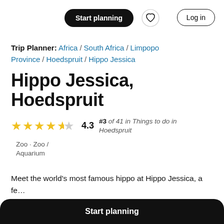Start planning | Log in
Trip Planner: Africa / South Africa / Limpopo Province / Hoedspruit / Hippo Jessica
Hippo Jessica, Hoedspruit
4.3  #3 of 41 in Things to do in Hoedspruit  Zoo · Zoo / Aquarium
Meet the world's most famous hippo at Hippo Jessica, a fe... hand-reared herbivorous mammal. Found as a calf, Jessic... she was strong enough to be released back into the wild. A...
Start planning